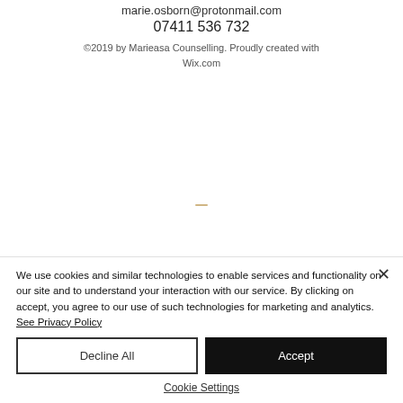marie.osborn@protonmail.com
07411 536 732
©2019 by Marieasa Counselling. Proudly created with Wix.com
We use cookies and similar technologies to enable services and functionality on our site and to understand your interaction with our service. By clicking on accept, you agree to our use of such technologies for marketing and analytics. See Privacy Policy
Decline All
Accept
Cookie Settings